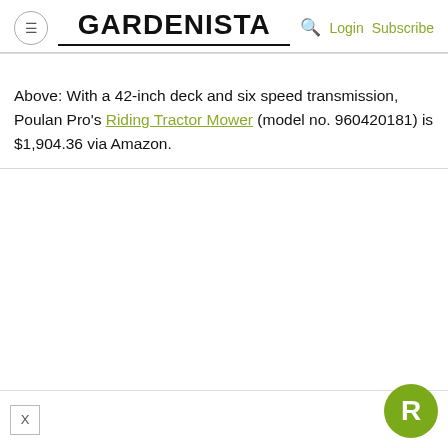GARDENISTA  Login Subscribe
Above: With a 42-inch deck and six speed transmission, Poulan Pro's Riding Tractor Mower (model no. 960420181) is $1,904.36 via Amazon.